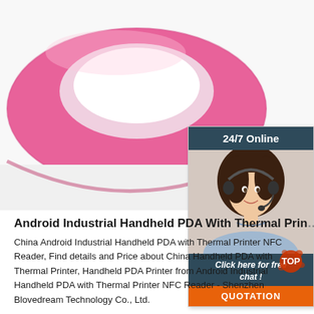[Figure (photo): Close-up photo of a pink silicone wristband/bracelet on a white background]
[Figure (infographic): 24/7 Online chat widget with a female customer service agent wearing a headset, 'Click here for free chat!' text, and an orange QUOTATION button]
Android Industrial Handheld PDA With Thermal Prin...
China Android Industrial Handheld PDA with Thermal Printer NFC Reader, Find details and Price about China Handheld PDA with Thermal Printer, Handheld PDA Printer from Android Industrial Handheld PDA with Thermal Printer NFC Reader - Shenzhen Blovedream Technology Co., Ltd.